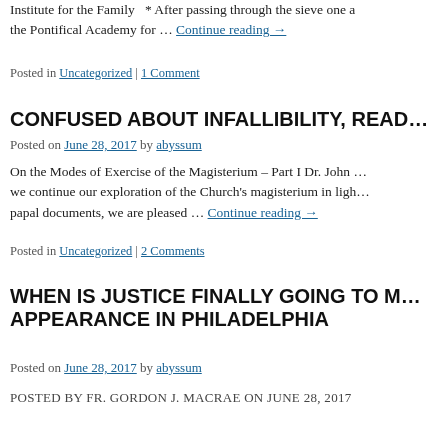Institute for the Family  * After passing through the sieve one a the Pontifical Academy for … Continue reading →
Posted in Uncategorized | 1 Comment
CONFUSED ABOUT INFALLIBILITY, READ…
Posted on June 28, 2017 by abyssum
On the Modes of Exercise of the Magisterium – Part I Dr. John … we continue our exploration of the Church's magisterium in ligh… papal documents, we are pleased … Continue reading →
Posted in Uncategorized | 2 Comments
WHEN IS JUSTICE FINALLY GOING TO M… APPEARANCE IN PHILADELPHIA
Posted on June 28, 2017 by abyssum
POSTED BY FR. GORDON J. MACRAE ON JUNE 28, 2017